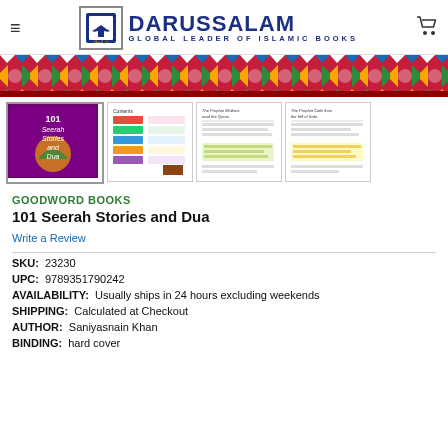DARUSSALAM - GLOBAL LEADER OF ISLAMIC BOOKS
[Figure (illustration): Decorative colorful geometric/floral border banner]
[Figure (photo): Four book thumbnails: cover of 101 Seerah Stories and Dua (purple), contents page, interior story page 'The Prophet Mothers read the Quran', interior page 'The Prophet Calls from the Hill of Safa']
GOODWORD BOOKS
101 Seerah Stories and Dua
Write a Review
SKU:  23230
UPC:  9789351790242
AVAILABILITY:  Usually ships in 24 hours excluding weekends
SHIPPING:  Calculated at Checkout
AUTHOR:  Saniyasnain Khan
BINDING:  hard cover